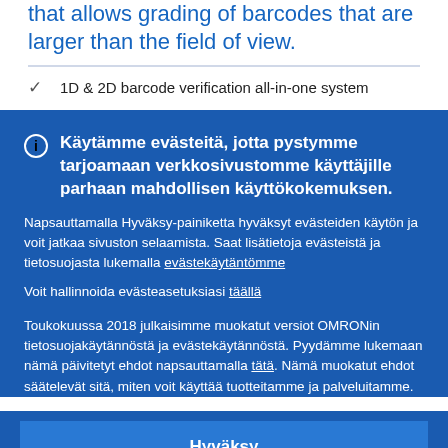that allows grading of barcodes that are larger than the field of view.
1D & 2D barcode verification all-in-one system
Käytämme evästeitä, jotta pystymme tarjoamaan verkkosivustomme käyttäjille parhaan mahdollisen käyttökokemuksen.
Napsauttamalla Hyväksy-painiketta hyväksyt evästeiden käytön ja voit jatkaa sivuston selaamista. Saat lisätietoja evästeistä ja tietosuojasta lukemalla evästekäytäntömme
Voit hallinnoida evästeasetuksiasi täällä
Toukokuussa 2018 julkaisimme muokatut versiot OMRONin tietosuojakäytännöstä ja evästekäytännöstä. Pyydämme lukemaan nämä päivitetyt ehdot napsauttamalla tätä. Nämä muokatut ehdot säätelevät sitä, miten voit käyttää tuotteitamme ja palveluitamme.
Hyväksy